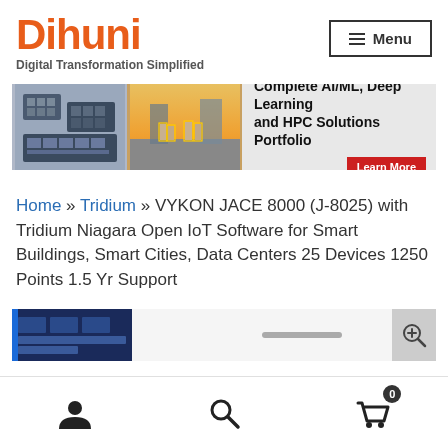Dihuni — Digital Transformation Simplified | Menu
[Figure (screenshot): Promotional banner showing AI/ML hardware on the left and a city street scene with bounding boxes on the right, with text 'Complete AI/ML, Deep Learning and HPC Solutions Portfolio' and a red 'Learn More' button]
Home » Tridium » VYKON JACE 8000 (J-8025) with Tridium Niagara Open IoT Software for Smart Buildings, Smart Cities, Data Centers 25 Devices 1250 Points 1.5 Yr Support
[Figure (screenshot): Bottom portion of product image with blue hardware visible, a gray slider bar, and a zoom icon on the right]
User account icon | Search icon | Shopping cart icon with badge 0